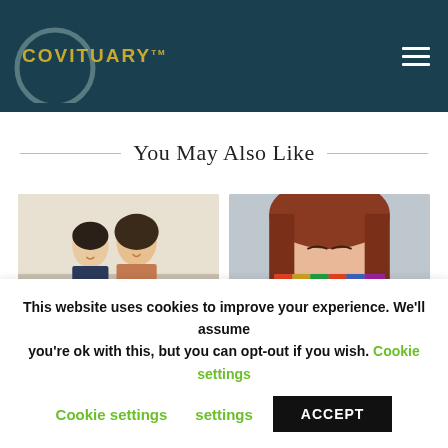[Figure (logo): Covituary logo with circular brush-stroke graphic and gold text reading COVITUARY™ on a dark teal header background, with hamburger menu icon on the right]
You May Also Like
[Figure (photo): Photo of a young Asian couple smiling and looking at a smartphone together, seated on a couch]
[Figure (photo): Close-up photo of a woman wearing a colorful knitted face mask, eyes closed]
This website uses cookies to improve your experience. We'll assume you're ok with this, but you can opt-out if you wish. Cookie settings ACCEPT